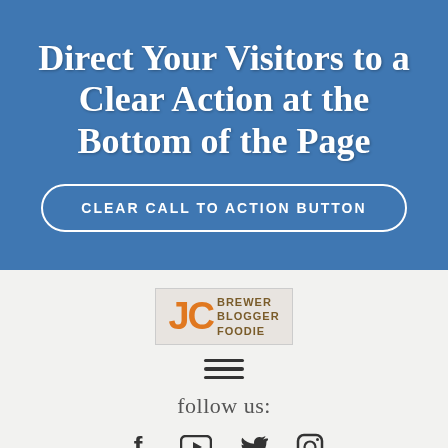Direct Your Visitors to a Clear Action at the Bottom of the Page
CLEAR CALL TO ACTION BUTTON
[Figure (logo): JC Brewer Blogger Foodie logo with orange JC letters and brown text]
[Figure (other): Hamburger menu icon (three horizontal lines)]
follow us:
[Figure (other): Social media icons: Facebook, YouTube, Twitter, Instagram]